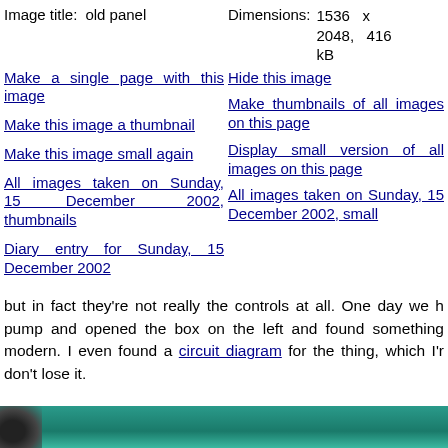Image title:   old panel
Dimensions:   1536 x 2048,   416 kB
Make a single page with this image
Hide this image
Make this image a thumbnail
Make thumbnails of all images on this page
Make this image small again
Display small version of all images on this page
All images taken on Sunday, 15 December 2002, thumbnails
All images taken on Sunday, 15 December 2002, small
Diary entry for Sunday, 15 December 2002
but in fact they're not really the controls at all. One day we h pump and opened the box on the left and found something modern. I even found a circuit diagram for the thing, which I'r don't lose it.
[Figure (photo): Bottom strip showing a partial photograph with teal/green background and dark object on the left.]